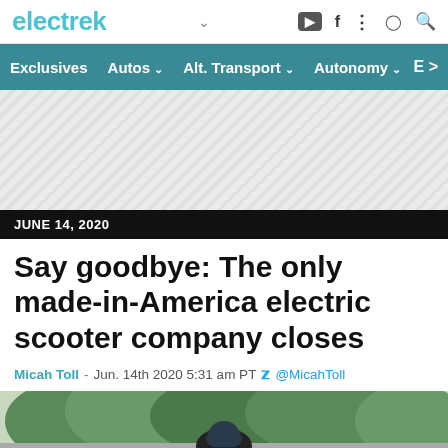electrek
Exclusives | Autos | Alt. Transport | Autonomy | E >
[Figure (other): Gray diagonal hatched advertisement placeholder area]
JUNE 14, 2020
Say goodbye: The only made-in-America electric scooter company closes
Micah Toll - Jun. 14th 2020 5:31 am PT @MicahToll
[Figure (photo): Person wearing a dark helmet riding a scooter outdoors, partially visible at the bottom of the page]